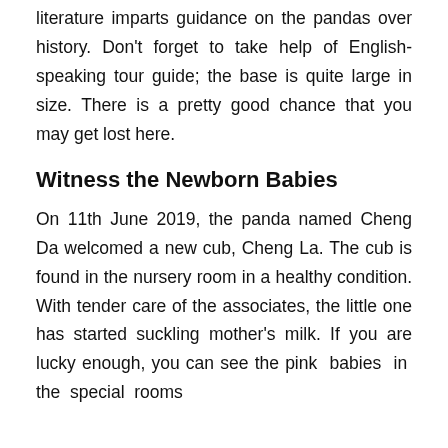literature imparts guidance on the pandas over history. Don't forget to take help of English-speaking tour guide; the base is quite large in size. There is a pretty good chance that you may get lost here.
Witness the Newborn Babies
On 11th June 2019, the panda named Cheng Da welcomed a new cub, Cheng La. The cub is found in the nursery room in a healthy condition. With tender care of the associates, the little one has started suckling mother's milk. If you are lucky enough, you can see the pink babies in the special rooms